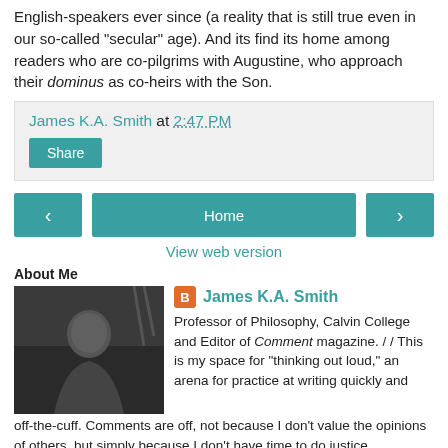English-speakers ever since (a reality that is still true even in our so-called "secular" age).  And its find its home among readers who are co-pilgrims with Augustine, who approach their dominus as co-heirs with the Son.
James K.A. Smith at 2:47 PM
Share
‹  Home  ›
View web version
About Me
[Figure (photo): Photo of James K.A. Smith, a man in dark clothing against a dark background with some equipment visible]
James K.A. Smith
Professor of Philosophy, Calvin College and Editor of Comment magazine. / / This is my space for "thinking out loud," an arena for practice at writing quickly and off-the-cuff. Comments are off, not because I don't value the opinions of others, but simply because I don't have time to do justice